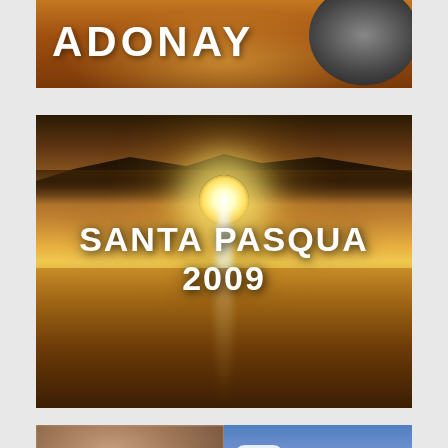[Figure (photo): Image banner with text 'ADONAY' in white bold letters over a warm sunset/amber background with a dark silhouette face on the right side (black and white)]
[Figure (photo): Landscape photo of a sunset over water with a bright sun creating a vertical beam of light on the water surface, with text 'SANTA PASQUA 2009' in bold white letters across the middle. Dark hills silhouetted on the horizon.]
[Figure (photo): Partial photo showing a close-up blurred portrait (face with hair, eyes visible) on the left half and a blue sky with white clouds on the right half.]